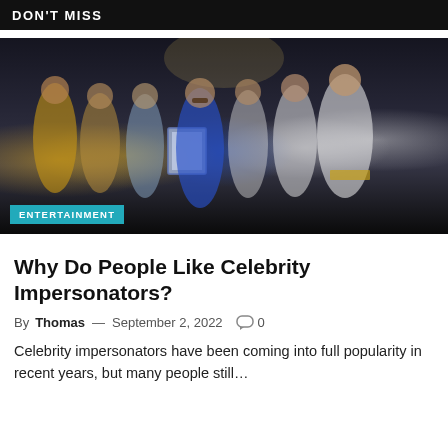DON'T MISS
[Figure (photo): Group of Elvis Presley impersonators posing together, one in the center holding a Guinness World Records certificate. They wear various Elvis costumes including gold, blue, and white jeweled jumpsuits. Background is a dark venue interior.]
ENTERTAINMENT
Why Do People Like Celebrity Impersonators?
By Thomas — September 2, 2022  0
Celebrity impersonators have been coming into full popularity in recent years, but many people still...